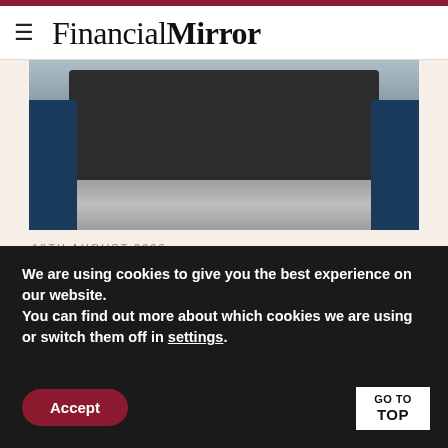Financial Mirror
[Figure (photo): Military truck/missile launcher on a parade ground, flanked by two soldiers in blue uniforms]
18TH AUGUST 2022
US senator says closer Turkey-Russia ties is ‘big mistake’
[Figure (screenshot): Partial widget showing FM badge and LATEST POSTS label]
We are using cookies to give you the best experience on our website.
You can find out more about which cookies we are using or switch them off in settings.
Accept